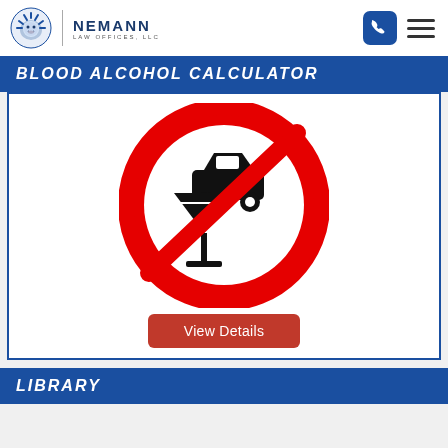Nemann Law Offices, LLC
BLOOD ALCOHOL CALCULATOR
[Figure (illustration): No drinking and driving symbol: red circle with diagonal slash over car and martini glass icons]
View Details
LIBRARY